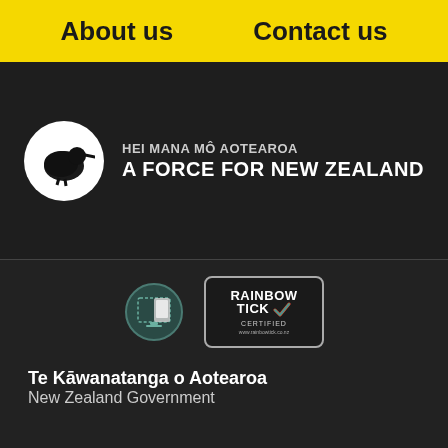About us   Contact us
[Figure (logo): New Zealand Defence Force logo — kiwi bird in white circle with text: HEI MANA MÔ AOTEAROA / A FORCE FOR NEW ZEALAND]
[Figure (logo): Accessibility badge — circular icon with screen/monitor symbol in teal]
[Figure (logo): Rainbow Tick Certified badge — coloured checkmark with text RAINBOW TICK CERTIFIED and URL www.rainbowtick.co.nz]
Te Kāwanatanga o Aotearoa
New Zealand Government